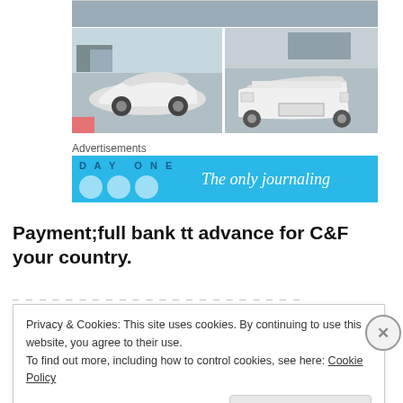[Figure (photo): Grid of car photos: top partial strip, bottom-left shows white sports car convertible from the side, bottom-right shows rear of white convertible car]
Advertisements
[Figure (screenshot): Advertisement banner: DAY ONE - The only journaling]
Payment;full bank tt advance for C&F your country.
Privacy & Cookies: This site uses cookies. By continuing to use this website, you agree to their use.
To find out more, including how to control cookies, see here: Cookie Policy
Close and accept